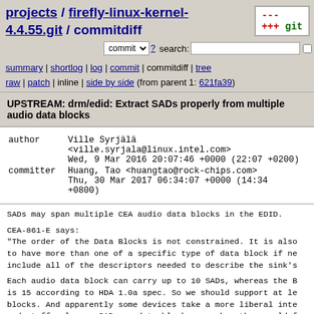projects / firefly-linux-kernel-4.4.55.git / commitdiff
commit ? search: re
summary | shortlog | log | commit | commitdiff | tree
raw | patch | inline | side by side (from parent 1: 621fa39)
UPSTREAM: drm/edid: Extract SADs properly from multiple audio data blocks
| field | value |
| --- | --- |
| author | Ville Syrjälä <ville.syrjala@linux.intel.com>
Wed, 9 Mar 2016 20:07:46 +0000 (22:07 +0200) |
| committer | Huang, Tao <huangtao@rock-chips.com>
Thu, 30 Mar 2017 06:34:07 +0000 (14:34 +0800) |
SADs may span multiple CEA audio data blocks in the EDID.

CEA-861-E says:
"The order of the Data Blocks is not constrained. It is also to have more than one of a specific type of data block if ne include all of the descriptors needed to describe the sink's

Each audio data block can carry up to 10 SADs, whereas the B is 15 according to HDA 1.0a spec. So we should support at le blocks. And apparently some devices take a more liberal inte and stuff only one SAD per data block even when they would f